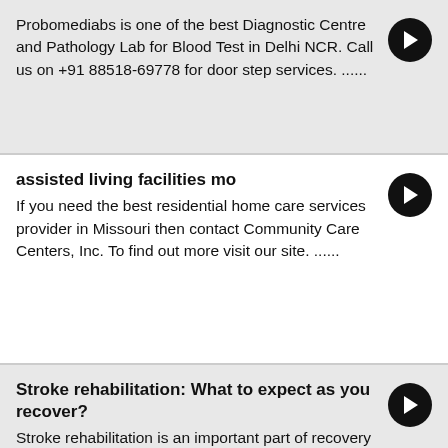Probomediabs is one of the best Diagnostic Centre and Pathology Lab for Blood Test in Delhi NCR. Call us on +91 88518-69778 for door step services. ......
assisted living facilities mo
If you need the best residential home care services provider in Missouri then contact Community Care Centers, Inc. To find out more visit our site. ......
Stroke rehabilitation: What to expect as you recover?
Stroke rehabilitation is an important part of recovery after a stroke. The goal is to relearn basic skills that the stroke may have impaired — skills like bathing, eating, dressing and walking. It can help to do as well as you can and be as independent as possible also learn to live with the changes to your brain and body caused by the stroke. It helps to adjust to living within your home, family, and community so that you can improve the quality of life. The severity of stroke complications and each person's ability to recover vary widely.